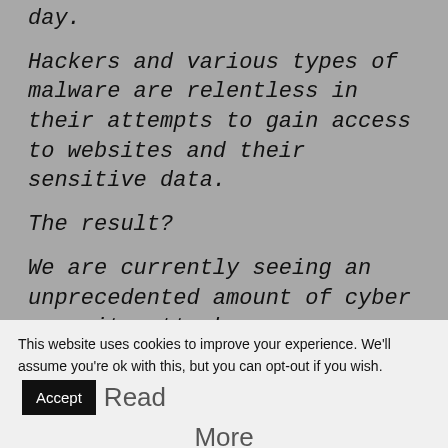day.
Hackers and various types of malware are relentless in their attempts to gain access to websites and their sensitive data.
The result?
We are currently seeing an unprecedented amount of cyber security attacks.
This issue affects businesses of all sizes, including yours.
In fact, 43% of online attacks now are aimed at small businesses, and only 14% of those
This website uses cookies to improve your experience. We'll assume you're ok with this, but you can opt-out if you wish.  Accept  Read More